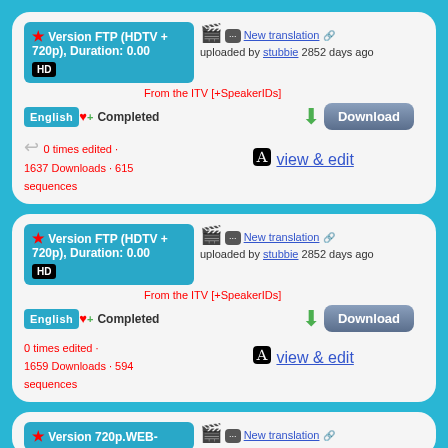Version FTP (HDTV + 720p), Duration: 0.00 | New translation uploaded by stubbie 2852 days ago | From the ITV [+SpeakerIDs] | ENGLISH Completed | 0 times edited · 1637 Downloads · 615 sequences | view & edit
Version FTP (HDTV + 720p), Duration: 0.00 | New translation uploaded by stubbie 2852 days ago | From the ITV [+SpeakerIDs] | ENGLISH Completed | 0 times edited · 1659 Downloads · 594 sequences | view & edit
Version 720p.WEB- | New translation